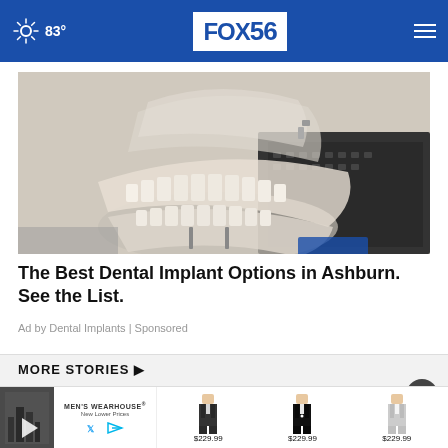83° FOX56
[Figure (photo): Clear dental implant model showing teeth and implant posts on a desk with keyboard in background]
The Best Dental Implant Options in Ashburn. See the List.
Ad by Dental Implants | Sponsored
MORE STORIES ▶
[Figure (screenshot): Men's Wearhouse advertisement banner showing suits at $229.99 each with three suit images and brand logo]